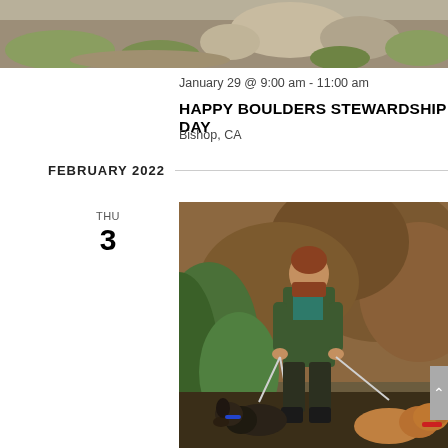[Figure (photo): Top partial image showing rocky hillside with sparse vegetation — a bouldering/outdoor landscape scene. Cropped at top of page.]
January 29 @ 9:00 am - 11:00 am
HAPPY BOULDERS STEWARDSHIP DAY
Bishop, CA
FEBRUARY 2022
THU
3
[Figure (photo): Photograph of a bearded man in a green jacket holding rope leashes attached to two dogs (a hound and a golden-colored dog) in a forested area with brown foliage in background.]